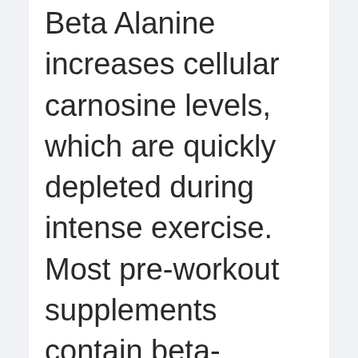Beta Alanine increases cellular carnosine levels, which are quickly depleted during intense exercise. Most pre-workout supplements contain beta-alanine but at significantly underdosed levels. Proper dosing of STIM-FREE delays the onset of neuromuscular fatigue in men and women during intense exercise and Promotes the formation of healthy proteins Significantly increase lean mass and decrease fat in wrestlers